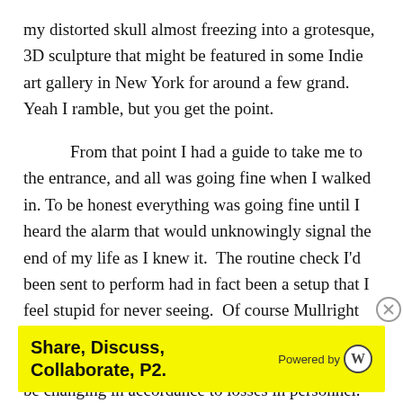my distorted skull almost freezing into a grotesque, 3D sculpture that might be featured in some Indie art gallery in New York for around a few grand.  Yeah I ramble, but you get the point.
From that point I had a guide to take me to the entrance, and all was going fine when I walked in. To be honest everything was going fine until I heard the alarm that would unknowingly signal the end of my life as I knew it.  The routine check I'd been sent to perform had in fact been a setup that I feel stupid for never seeing.  Of course Mullright had been smart enough in his own chimp-like way to at least tell me that our shifts at the Trust would be changing in accordance to losses in personnel.  In othe
Advertisements
[Figure (other): Advertisement banner with yellow background. Text reads 'Share, Discuss, Collaborate, P2.' in bold black. Right side shows 'Powered by' with WordPress logo.]